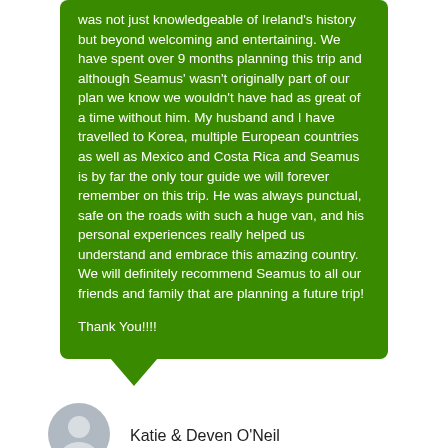was not just knowledgeable of Ireland's history but beyond welcoming and entertaining. We have spent over 9 months planning this trip and although Seamus' wasn't originally part of our plan we know we wouldn't have had as great of a time without him. My husband and I have travelled to Korea, multiple European countries as well as Mexico and Costa Rica and Seamus is by far the only tour guide we will forever remember on this trip. He was always punctual, safe on the roads with such a huge van, and his personal experiences really helped us understand and embrace this amazing country. We will definitely recommend Seamus to all our friends and family that are planning a future trip!

Thank You!!!!
[Figure (illustration): Grey circular avatar/profile silhouette icon]
Katie & Deven O'Neil